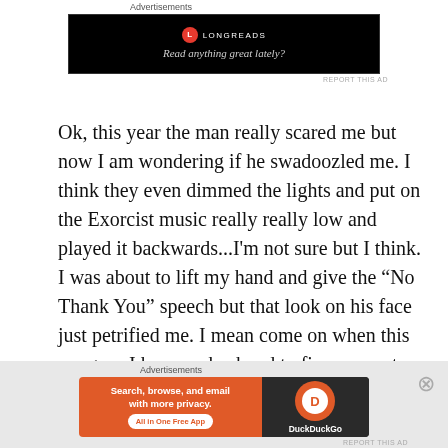Advertisements
[Figure (screenshot): Longreads advertisement banner: black background with Longreads logo (red circle with L) and text 'Read anything great lately?']
REPORT THIS AD
Ok, this year the man really scared me but now I am wondering if he swadoozled me. I think they even dimmed the lights and put on the Exorcist music really really low and played it backwards...I'm not sure but I think. I was about to lift my hand and give the “No Thank You” speech but that look on his face just petrified me. I mean come on when this car goes I have no husband to fix my car, to help me buy another car. I don’t even make enough now to do anything about it. I will be without a car. I will be using the good ol’ footsies because my check goes enough just to pay bills...nothing left to barely play in
Advertisements
[Figure (screenshot): DuckDuckGo advertisement: orange and dark background with text 'Search, browse, and email with more privacy. All in One Free App' and DuckDuckGo logo]
REPORT THIS AD